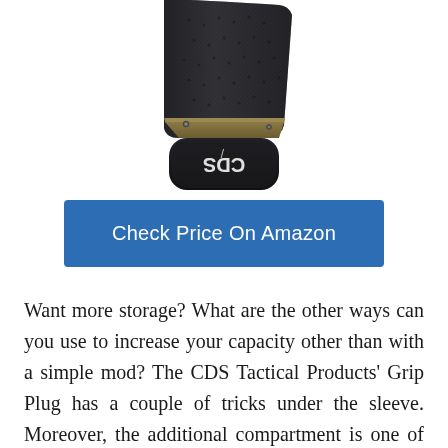[Figure (photo): Photo of a CDS Tactical Products Grip Plug — a dark textured grip plug with an olive/tan colored base and a black bottom cap showing the CDS logo printed sideways]
Check Price On Amazon
Want more storage? What are the other ways can you use to increase your capacity other than with a simple mod? The CDS Tactical Products' Grip Plug has a couple of tricks under the sleeve. Moreover, the additional compartment is one of those.